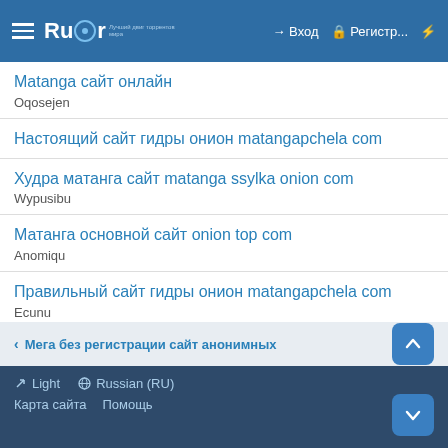≡ Rutor | → Вход | Регистр... | ⚡
Matanga сайт онлайн
Oqosejen
Настоящий сайт гидры онион matangapchela com
Худра матанга сайт matanga ssylka onion com
Wypusibu
Матанга основной сайт onion top com
Anomiqu
Правильный сайт гидры онион matangapchela com
Ecunu
< Мега без регистрации сайт анонимных | ✏ Light | 🌐 Russian (RU) | Карта сайта | Помощь